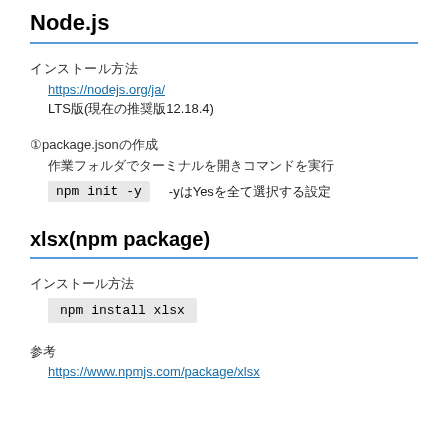Node.js
インストール方法
https://nodejs.org/ja/
LTS版(現在の推奨版12.18.4)
①package.jsonの作成
作業フォルダでターミナルを開きコマンドを実行
npm init -y　-yはYesを全て選択する設定
xlsx(npm package)
インストール方法
npm install xlsx
参考
https://www.npmjs.com/package/xlsx